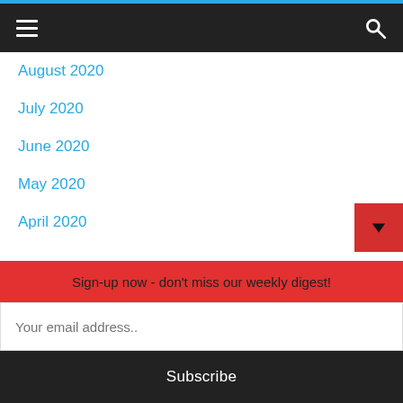≡ 🔍
August 2020
July 2020
June 2020
May 2020
April 2020
March 2020
February 2020
January 2020
December 2019
November 2019
Sign-up now - don't miss our weekly digest!
Your email address..
Subscribe